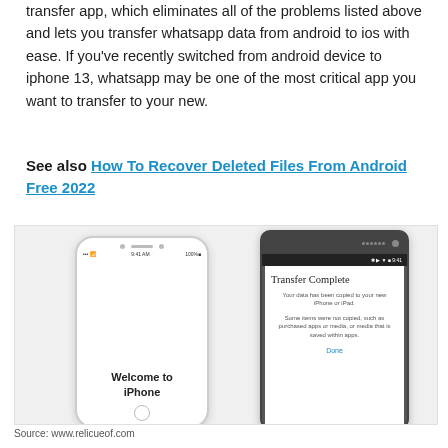transfer app, which eliminates all of the problems listed above and lets you transfer whatsapp data from android to ios with ease. If you've recently switched from android device to iphone 13, whatsapp may be one of the most critical app you want to transfer to your new.
See also  How To Recover Deleted Files From Android Free 2022
[Figure (photo): Two smartphones side by side: an iPhone on the left showing 'Welcome to iPhone' screen, and an Android phone on the right showing 'Transfer Complete' with message 'Your data has been copied to your new iPhone or iPad. Some items were not copied, such as purchased apps or media, or media that is saved within apps.' and a 'Done' link.]
Source: www.relicueof.com